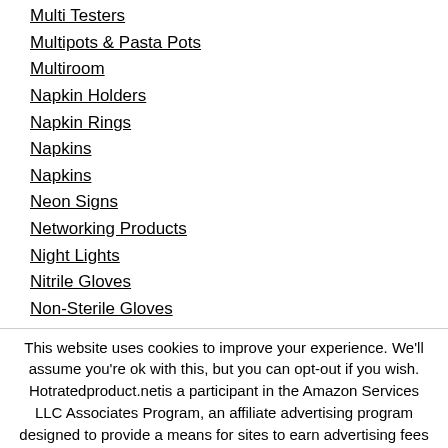Multi Testers
Multipots & Pasta Pots
Multiroom
Napkin Holders
Napkin Rings
Napkins
Napkins
Neon Signs
Networking Products
Night Lights
Nitrile Gloves
Non-Sterile Gloves
This website uses cookies to improve your experience. We'll assume you're ok with this, but you can opt-out if you wish. Hotratedproduct.netis a participant in the Amazon Services LLC Associates Program, an affiliate advertising program designed to provide a means for sites to earn advertising fees by advertising and linking to Amazon.com, Amazon.co.uk.
Accept   Read More